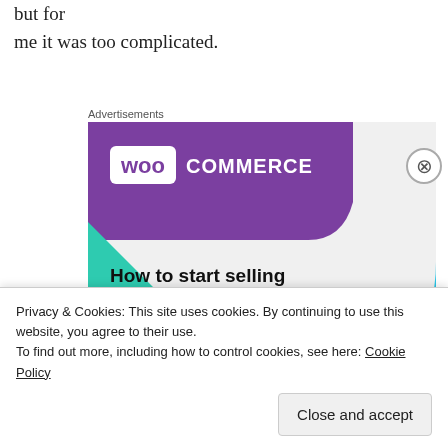but for me it was too complicated.
Advertisements
[Figure (illustration): WooCommerce advertisement banner showing the WooCommerce logo on a purple background with teal and cyan decorative shapes, headline 'How to start selling subscriptions online', and a purple call-to-action button.]
Privacy & Cookies: This site uses cookies. By continuing to use this website, you agree to their use.
To find out more, including how to control cookies, see here: Cookie Policy
Close and accept